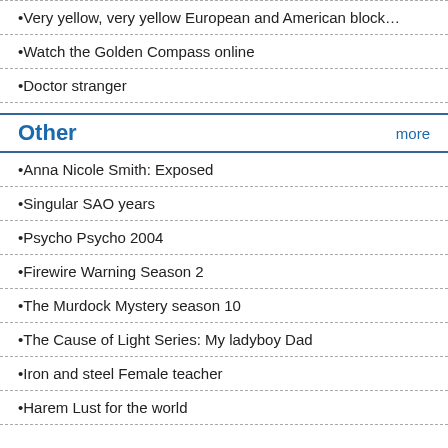Very yellow, very yellow European and American block…
Watch the Golden Compass online
Doctor stranger
Other
Anna Nicole Smith: Exposed
Singular SAO years
Psycho Psycho 2004
Firewire Warning Season 2
The Murdock Mystery season 10
The Cause of Light Series: My ladyboy Dad
Iron and steel Female teacher
Harem Lust for the world